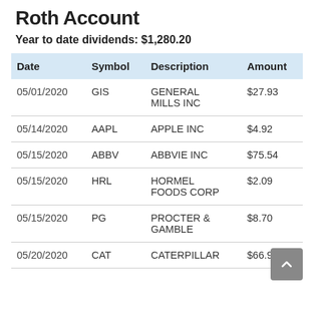Roth Account
Year to date dividends: $1,280.20
| Date | Symbol | Description | Amount |
| --- | --- | --- | --- |
| 05/01/2020 | GIS | GENERAL MILLS INC | $27.93 |
| 05/14/2020 | AAPL | APPLE INC | $4.92 |
| 05/15/2020 | ABBV | ABBVIE INC | $75.54 |
| 05/15/2020 | HRL | HORMEL FOODS CORP | $2.09 |
| 05/15/2020 | PG | PROCTER & GAMBLE | $8.70 |
| 05/20/2020 | CAT | CATERPILLAR | $66.95 |